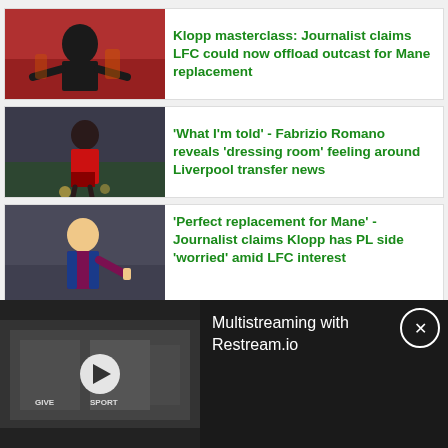[Figure (photo): Photo of Jurgen Klopp in a black jacket gesturing on a football pitch]
Klopp masterclass: Journalist claims LFC could now offload outcast for Mane replacement
[Figure (photo): Photo of a Liverpool footballer in red kit on a football pitch]
'What I'm told' - Fabrizio Romano reveals 'dressing room' feeling around Liverpool transfer news
[Figure (photo): Photo of a footballer in claret and blue West Ham kit]
'Perfect replacement for Mane' - Journalist claims Klopp has PL side 'worried' amid LFC interest
Multistreaming with Restream.io
[Figure (screenshot): Video player thumbnail showing football broadcast with play button overlay]